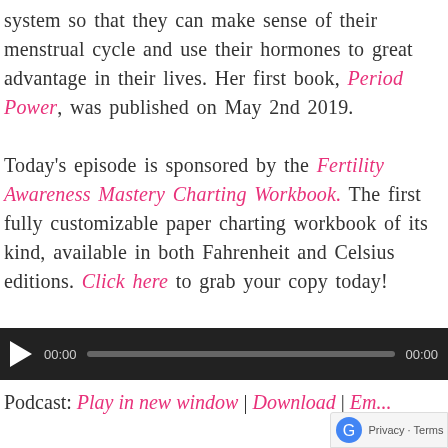system so that they can make sense of their menstrual cycle and use their hormones to great advantage in their lives. Her first book, Period Power, was published on May 2nd 2019.

Today's episode is sponsored by the Fertility Awareness Mastery Charting Workbook. The first fully customizable paper charting workbook of its kind, available in both Fahrenheit and Celsius editions. Click here to grab your copy today!
[Figure (screenshot): Audio player bar with play button, time stamps 00:00 and 00:00, and a progress bar on dark background]
Podcast: Play in new window | Download | Em...